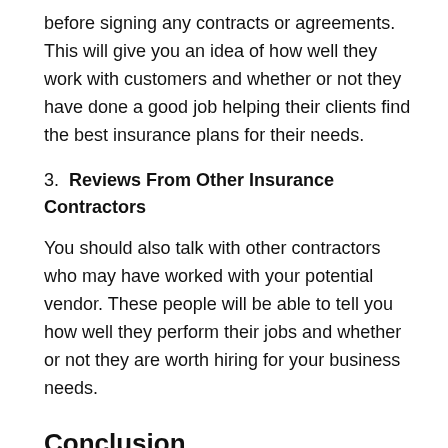before signing any contracts or agreements. This will give you an idea of how well they work with customers and whether or not they have done a good job helping their clients find the best insurance plans for their needs.
3. Reviews From Other Insurance Contractors
You should also talk with other contractors who may have worked with your potential vendor. These people will be able to tell you how well they perform their jobs and whether or not they are worth hiring for your business needs.
Conclusion
Choosing a health insurance contract is an important decision.
However, there are many different types of